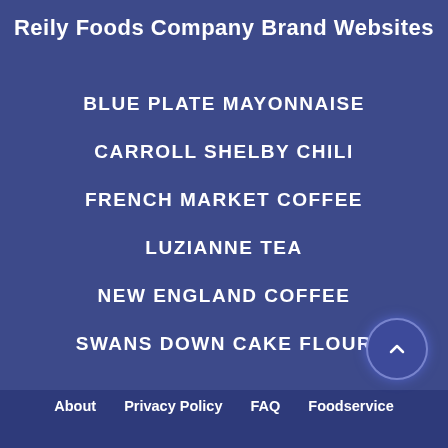Reily Foods Company Brand Websites
BLUE PLATE MAYONNAISE
CARROLL SHELBY CHILI
FRENCH MARKET COFFEE
LUZIANNE TEA
NEW ENGLAND COFFEE
SWANS DOWN CAKE FLOUR
About   Privacy Policy   FAQ   Foodservice